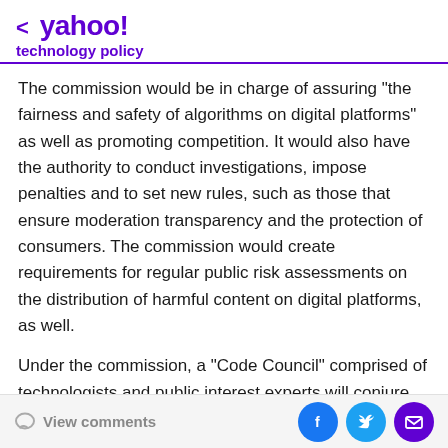< yahoo!
technology policy
The commission would be in charge of assuring "the fairness and safety of algorithms on digital platforms" as well as promoting competition. It would also have the authority to conduct investigations, impose penalties and to set new rules, such as those that ensure moderation transparency and the protection of consumers. The commission would create requirements for regular public risk assessments on the distribution of harmful content on digital platforms, as well.
Under the commission, a "Code Council" comprised of technologists and public interest experts will conjure up standards and policies that could be implemented. In
View comments